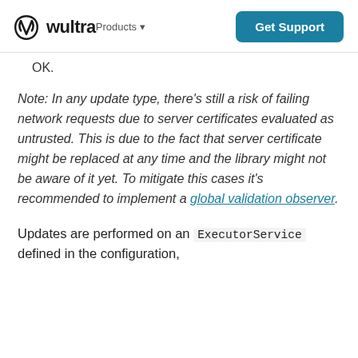wultra Products  Get Support
OK.
Note: In any update type, there's still a risk of failing network requests due to server certificates evaluated as untrusted. This is due to the fact that server certificate might be replaced at any time and the library might not be aware of it yet. To mitigate this cases it's recommended to implement a global validation observer.
Updates are performed on an ExecutorService defined in the configuration,